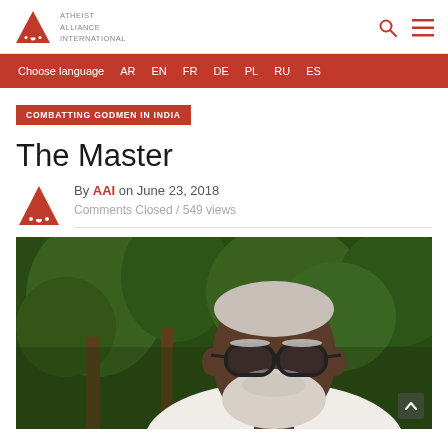Atheist Alliance International
Choose language   AR   EN   FR   DE   PL   RU   ES
COMBATTING GODMEN IN INDIA
The Master
By AAI on June 23, 2018
Comments Closed / 549 views
[Figure (photo): Close-up photo of an elderly Indian man with white beard, grey hair, and dark-framed glasses, with blurred green trees in the background.]